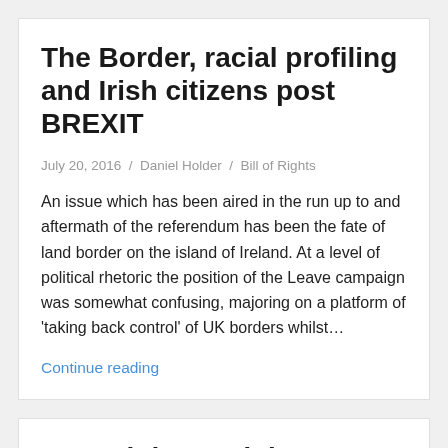The Border, racial profiling and Irish citizens post BREXIT
July 20, 2016 / Daniel Holder / Bill of Rights
An issue which has been aired in the run up to and aftermath of the referendum has been the fate of land border on the island of Ireland. At a level of political rhetoric the position of the Leave campaign was somewhat confusing, majoring on a platform of 'taking back control' of UK borders whilst…
Continue reading
ESC Rights and the Stormont